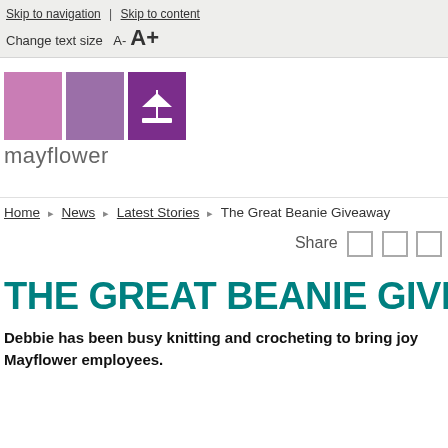Skip to navigation | Skip to content
Change text size  A-  A+
[Figure (logo): Mayflower logo with three colored squares (pink, medium purple, dark purple with ship icon) and the word 'mayflower' below in grey]
Home > News > Latest Stories > The Great Beanie Giveaway
Share
THE GREAT BEANIE GIVEAWA...
Debbie has been busy knitting and crocheting to bring joy... Mayflower employees.